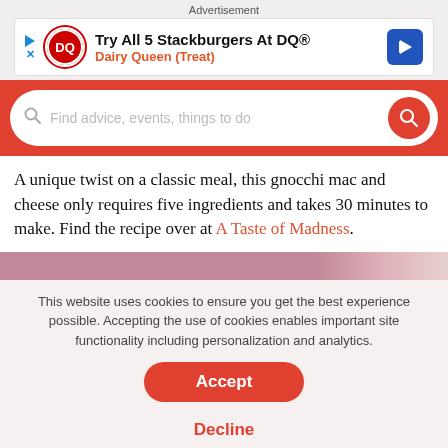Advertisement
[Figure (screenshot): Dairy Queen advertisement banner: 'Try All 5 Stackburgers At DQ® Dairy Queen (Treat)' with DQ logo and blue arrow icon]
[Figure (screenshot): Red search bar with placeholder text 'Find advice, events, things to do' and red search button]
A unique twist on a classic meal, this gnocchi mac and cheese only requires five ingredients and takes 30 minutes to make. Find the recipe over at A Taste of Madness.
[Figure (photo): Partial image strip with pink/mauve gradient colors]
This website uses cookies to ensure you get the best experience possible. Accepting the use of cookies enables important site functionality including personalization and analytics.
Accept
Decline